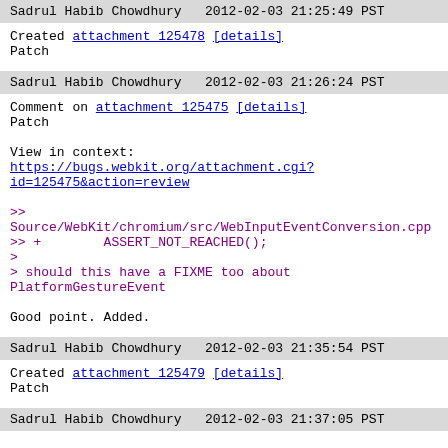Sadrul Habib Chowdhury   2012-02-03 21:25:49 PST
Created attachment 125478 [details]
Patch
Sadrul Habib Chowdhury   2012-02-03 21:26:24 PST
Comment on attachment 125475 [details]
Patch

View in context: https://bugs.webkit.org/attachment.cgi?id=125475&action=review

>> Source/WebKit/chromium/src/WebInputEventConversion.cpp
>> +        ASSERT_NOT_REACHED();
>
> should this have a FIXME too about PlatformGestureEvent

Good point. Added.
Sadrul Habib Chowdhury   2012-02-03 21:35:54 PST
Created attachment 125479 [details]
Patch
Sadrul Habib Chowdhury   2012-02-03 21:37:05 PST